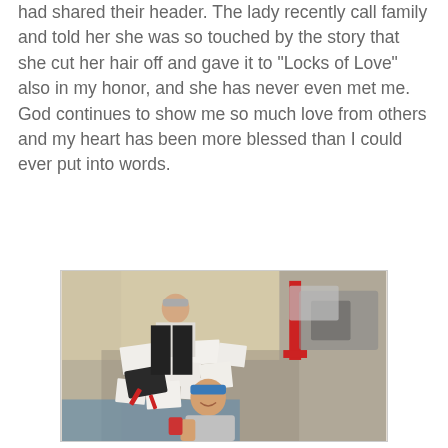had shared their header. The lady recently call family and told her she was so touched by the story that she cut her hair off and gave it to "Locks of Love" also in my honor, and she has never even met me.  God continues to show me so much love from others and my heart has been more blessed than I could ever put into words.
[Figure (photo): Two women sitting on a concrete floor surrounded by papers and documents spread out. One woman in background wearing cap and dark clothes, one woman in foreground wearing blue cap and grey t-shirt, smiling at camera. Red hand truck visible in background along with bags and boxes.]